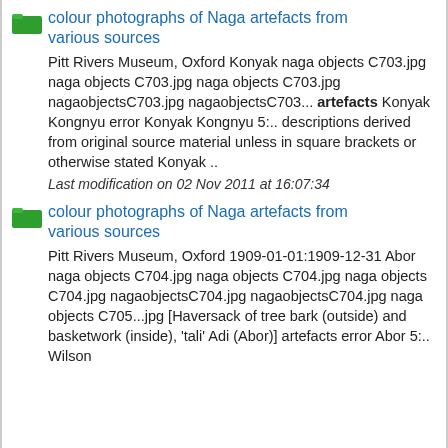colour photographs of Naga artefacts from various sources
Pitt Rivers Museum, Oxford Konyak naga objects C703.jpg naga objects C703.jpg naga objects C703.jpg nagaobjectsC703.jpg nagaobjectsC703... artefacts Konyak Kongnyu error Konyak Kongnyu 5:.. descriptions derived from original source material unless in square brackets or otherwise stated Konyak ..
Last modification on 02 Nov 2011 at 16:07:34
colour photographs of Naga artefacts from various sources
Pitt Rivers Museum, Oxford 1909-01-01:1909-12-31 Abor naga objects C704.jpg naga objects C704.jpg naga objects C704.jpg nagaobjectsC704.jpg nagaobjectsC704.jpg naga objects C705...jpg [Haversack of tree bark (outside) and basketwork (inside), 'tali' Adi (Abor)] artefacts error Abor 5:.. Wilson